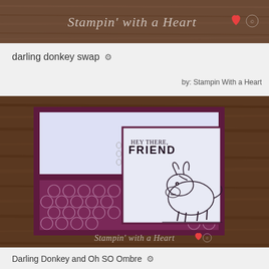[Figure (photo): Top banner with 'Stampin with a Heart' watermark text on wood background with red heart]
darling donkey swap ⚙
by: Stampin With a Heart
[Figure (photo): Handmade greeting card featuring a donkey illustration with text 'HEY THERE, FRIEND' on a wood background. Card uses purple/maroon and light blue colors with a circle-patterned paper.]
Darling Donkey and Oh SO Ombre ⚙